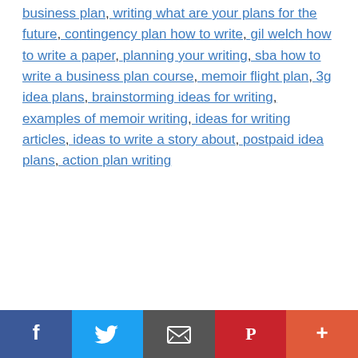business plan, writing what are your plans for the future, contingency plan how to write, gil welch how to write a paper, planning your writing, sba how to write a business plan course, memoir flight plan, 3g idea plans, brainstorming ideas for writing, examples of memoir writing, ideas for writing articles, ideas to write a story about, postpaid idea plans, action plan writing
[social share bar: Facebook, Twitter, Email, Pinterest, More]